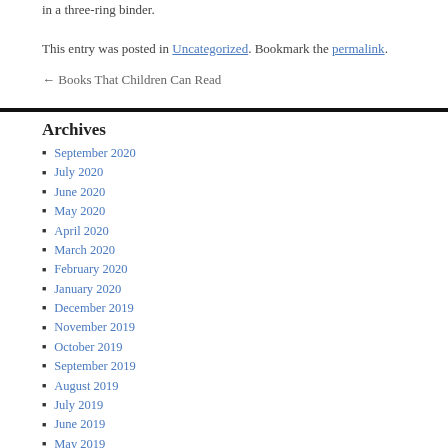This entry was posted in Uncategorized. Bookmark the permalink.
← Books That Children Can Read
Archives
September 2020
July 2020
June 2020
May 2020
April 2020
March 2020
February 2020
January 2020
December 2019
November 2019
October 2019
September 2019
August 2019
July 2019
June 2019
May 2019